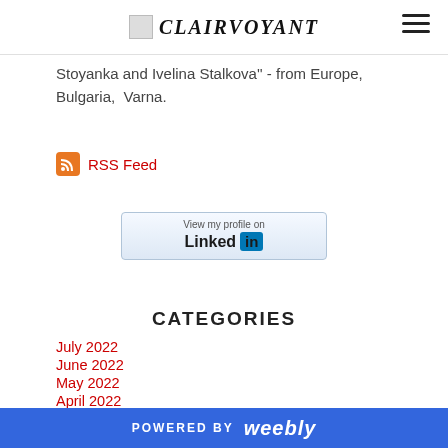CLAIRVOYANT house
Stoyanka and Ivelina Stalkova'' - from Europe,  Bulgaria,  Varna.
RSS Feed
[Figure (other): LinkedIn View my profile on Linked in button]
CATEGORIES
July 2022
June 2022
May 2022
April 2022
POWERED BY weebly